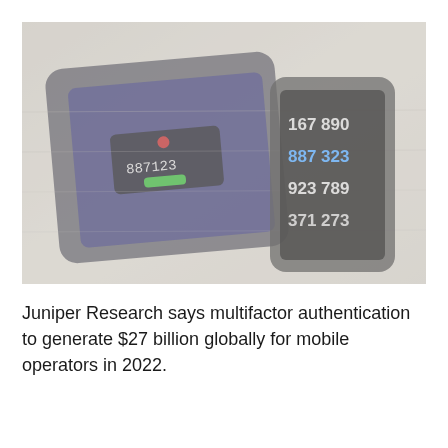[Figure (photo): A tablet and a smartphone on a desk. The tablet displays a two-factor authentication screen with a code '887123' and a green button. The smartphone displays multiple authentication codes: 167 890, 887 323 (highlighted in blue), 923 789, 371 273.]
Juniper Research says multifactor authentication to generate $27 billion globally for mobile operators in 2022.